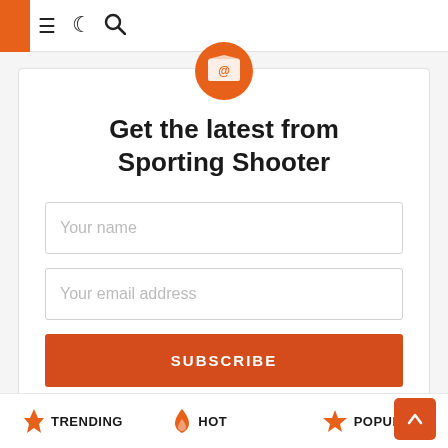≡ ☾ 🔍
[Figure (illustration): Orange circular icon with envelope/email symbol at center top of subscription card]
Get the latest from Sporting Shooter
Your name (input field placeholder)
Your email address (input field placeholder)
SUBSCRIBE (button)
Don't worry, we don't spam
TRENDING  HOT  POPULAR